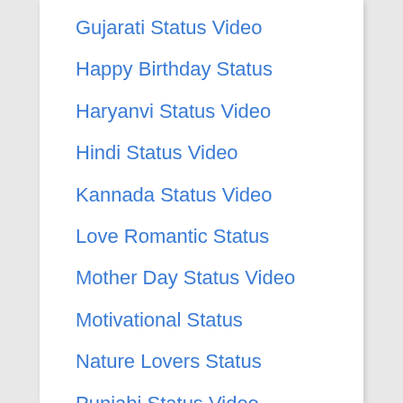Gujarati Status Video
Happy Birthday Status
Haryanvi Status Video
Hindi Status Video
Kannada Status Video
Love Romantic Status
Mother Day Status Video
Motivational Status
Nature Lovers Status
Punjabi Status Video
Sad Status Video